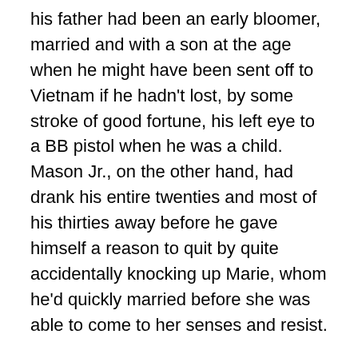his father had been an early bloomer, married and with a son at the age when he might have been sent off to Vietnam if he hadn't lost, by some stroke of good fortune, his left eye to a BB pistol when he was a child. Mason Jr., on the other hand, had drank his entire twenties and most of his thirties away before he gave himself a reason to quit by quite accidentally knocking up Marie, whom he'd quickly married before she was able to come to her senses and resist.
Mason Sr. had gone missing twenty years before, around the same time the first sightings of the Lizard Man were reported. Everyone had assumed that Mason Sr. was just off on a drunk, something he did about once a year after he'd found Jesus and mostly quit drinking not long after Mason Jr. was born. What a bender that must have been,